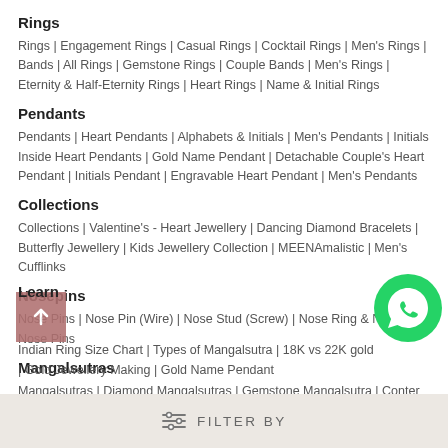Rings
Rings | Engagement Rings | Casual Rings | Cocktail Rings | Men's Rings | Bands | All Rings | Gemstone Rings | Couple Bands | Men's Rings | Eternity & Half-Eternity Rings | Heart Rings | Name & Initial Rings
Pendants
Pendants | Heart Pendants | Alphabets & Initials | Men's Pendants | Initials Inside Heart Pendants | Gold Name Pendant | Detachable Couple's Heart Pendant | Initials Pendant | Engravable Heart Pendant | Men's Pendants
Collections
Collections | Valentine's - Heart Jewellery | Dancing Diamond Bracelets | Butterfly Jewellery | Kids Jewellery Collection | MEENAmalistic | Men's Cufflinks
Nosepins
Nose Pins | Nose Pin (Wire) | Nose Stud (Screw) | Nose Ring & Nath | All Nose Pins
Mangalsutras
Mangalsutras | Diamond Mangalsutras | Gemstone Mangalsutra | Contemporary Mangalsutra | All Mangalsutras
Learn
Indian Ring Size Chart | Types of Mangalsutra | 18K vs 22K gold | Gold Jewellery Making | Gold Name Pendant
FILTER BY